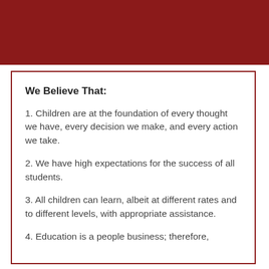[Figure (other): Dark red/maroon decorative header bar spanning full width at top of page]
We Believe That:
1. Children are at the foundation of every thought we have, every decision we make, and every action we take.
2. We have high expectations for the success of all students.
3. All children can learn, albeit at different rates and to different levels, with appropriate assistance.
4. Education is a people business; therefore,